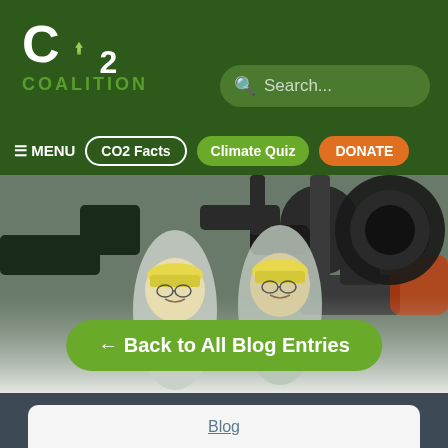CO2 COALITION
Search...
≡ MENU   CO2 Facts   Climate Quiz   DONATE
[Figure (photo): Two workers wearing yellow hard hats and safety glasses standing in front of industrial machinery/equipment]
← Back to All Blog Entries
Blog